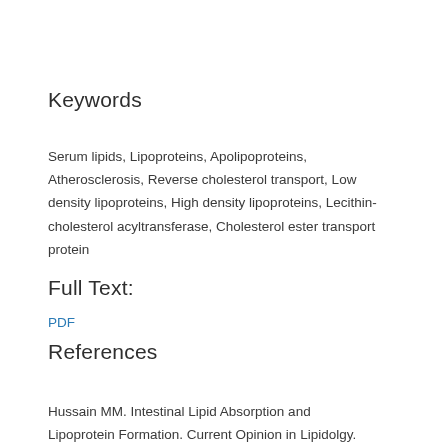Keywords
Serum lipids, Lipoproteins, Apolipoproteins, Atherosclerosis, Reverse cholesterol transport, Low density lipoproteins, High density lipoproteins, Lecithin-cholesterol acyltransferase, Cholesterol ester transport protein
Full Text:
PDF
References
Hussain MM. Intestinal Lipid Absorption and Lipoprotein Formation. Current Opinion in Lipidolgy. 2014;25(3):200-6